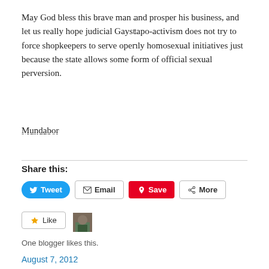May God bless this brave man and prosper his business, and let us really hope judicial Gaystapo-activism does not try to force shopkeepers to serve openly homosexual initiatives just because the state allows some form of official sexual perversion.
Mundabor
Share this:
[Figure (screenshot): Social share buttons: Tweet (Twitter/blue), Email (grey border), Save (Pinterest/red), More (grey border)]
[Figure (screenshot): Like button with star icon and a blogger avatar thumbnail. Text: One blogger likes this.]
One blogger likes this.
August 7, 2012